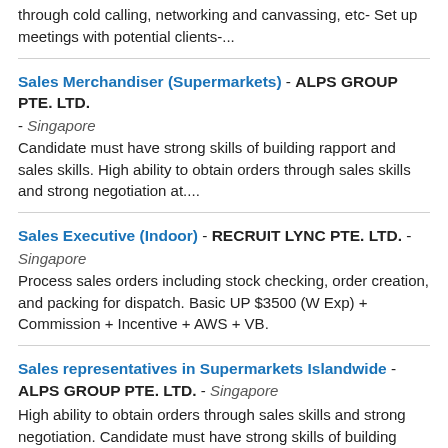through cold calling, networking and canvassing, etc- Set up meetings with potential clients-...
Sales Merchandiser (Supermarkets) - ALPS GROUP PTE. LTD. - Singapore
Candidate must have strong skills of building rapport and sales skills. High ability to obtain orders through sales skills and strong negotiation at....
Sales Executive (Indoor) - RECRUIT LYNC PTE. LTD. - Singapore
Process sales orders including stock checking, order creation, and packing for dispatch. Basic UP $3500 (W Exp) + Commission + Incentive + AWS + VB.
Sales representatives in Supermarkets Islandwide - ALPS GROUP PTE. LTD. - Singapore
High ability to obtain orders through sales skills and strong negotiation. Candidate must have strong skills of building rapport and sales skills.